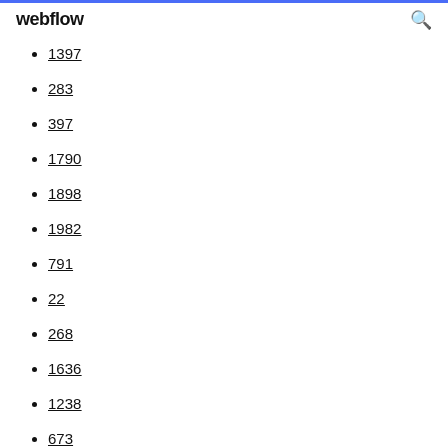webflow
1397
283
397
1790
1898
1982
791
22
268
1636
1238
673
1719